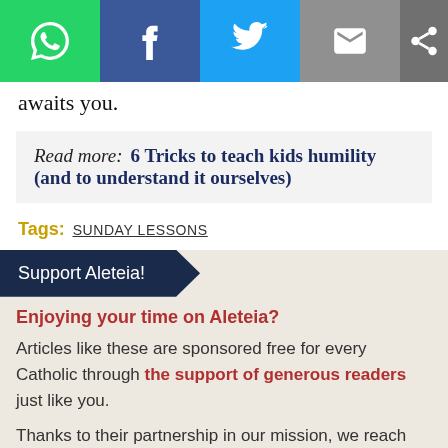[Figure (other): Social sharing bar with WhatsApp, Facebook, Twitter, Email, and Share icons]
awaits you.
Read more: 6 Tricks to teach kids humility (and to understand it ourselves)
Tags: SUNDAY LESSONS
Support Aleteia!
Enjoying your time on Aleteia?
Articles like these are sponsored free for every Catholic through the support of generous readers just like you.
Thanks to their partnership in our mission, we reach more than 20